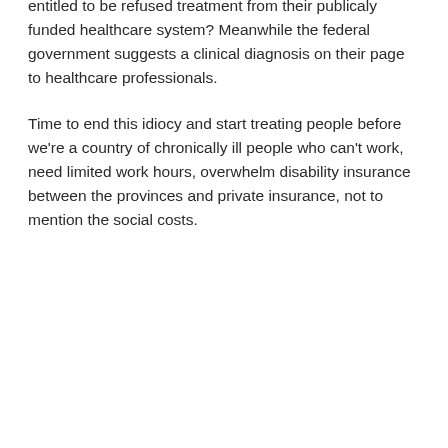that 90 percent of Canadians with Lyme Disease are entitled to be refused treatment from their publicaly funded healthcare system? Meanwhile the federal government suggests a clinical diagnosis on their page to healthcare professionals.
Time to end this idiocy and start treating people before we're a country of chronically ill people who can't work, need limited work hours, overwhelm disability insurance between the provinces and private insurance, not to mention the social costs.